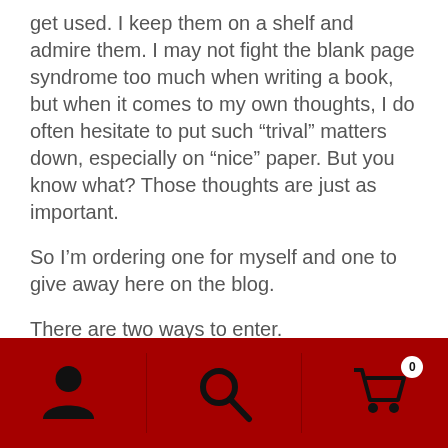get used.  I keep them on a shelf and admire them.  I may not fight the blank page syndrome too much when writing a book, but when it comes to my own thoughts, I do often hesitate to put such “trival” matters down, especially on “nice” paper.  But you know what?  Those thoughts are just as important.
So I’m ordering one for myself and one to give away here on the blog.
There are two ways to enter.
Comment here and tell me about your own journaling habits or simply throw your name in the hat.
[Figure (infographic): Dark red footer bar with three icons: a person/user icon on the left, a search/magnifying glass icon in the center, and a shopping cart icon with a badge showing 0 on the right. Dividers separate the three icon sections.]